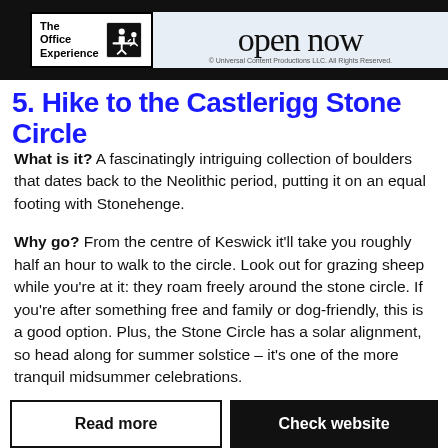[Figure (logo): Advertisement banner for 'The Office Experience' with logo on black background and 'open now' text on light background. Copyright Universal Content Productions LLC.]
5. Hike to the Castlerigg Stone Circle
What is it? A fascinatingly intriguing collection of boulders that dates back to the Neolithic period, putting it on an equal footing with Stonehenge.
Why go? From the centre of Keswick it'll take you roughly half an hour to walk to the circle. Look out for grazing sheep while you're at it: they roam freely around the stone circle. If you're after something free and family or dog-friendly, this is a good option. Plus, the Stone Circle has a solar alignment, so head along for summer solstice – it's one of the more tranquil midsummer celebrations.
Read more
Check website